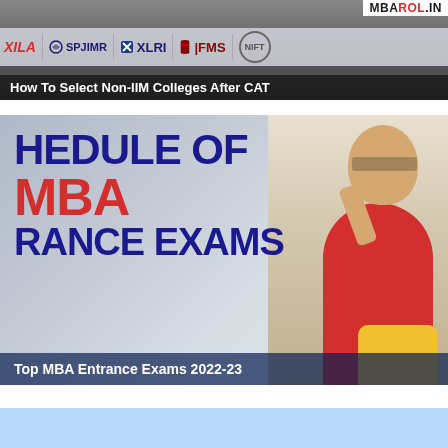[Figure (screenshot): Banner image for 'How To Select Non-IIM Colleges After CAT' showing logos of XILA, SPJIMR, XLRI, FMS, NIFT and watermark MBAROI.IN]
How To Select Non-IIM Colleges After CAT
[Figure (screenshot): Banner image showing text 'HEDULE OF MBA RANCE EXAMS' in large bold text with a woman in red pointing upward on the right side]
Top MBA Entrance Exams 2022-23
[Figure (screenshot): Partial banner image at the bottom with light blue background, content cut off]